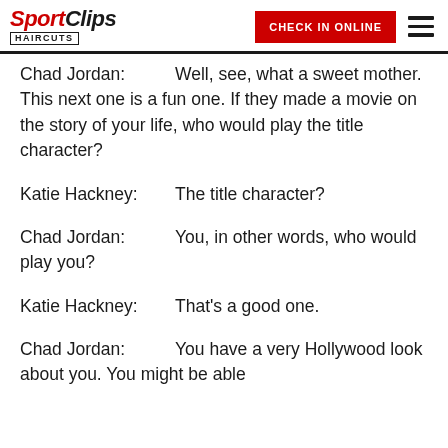Sport Clips Haircuts | CHECK IN ONLINE
Chad Jordan: Well, see, what a sweet mother. This next one is a fun one. If they made a movie on the story of your life, who would play the title character?
Katie Hackney: The title character?
Chad Jordan: You, in other words, who would play you?
Katie Hackney: That's a good one.
Chad Jordan: You have a very Hollywood look about you. You might be able